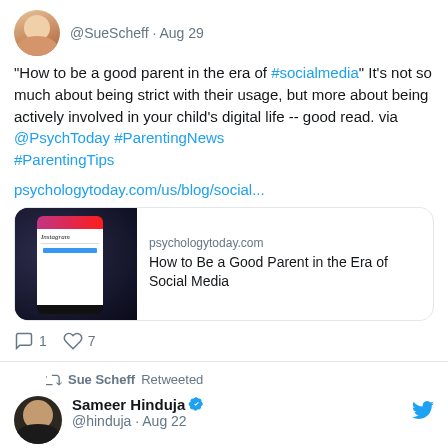[Figure (screenshot): Twitter/X profile avatar of Sue Scheff — woman with blond hair]
@SueScheff · Aug 29
"How to be a good parent in the era of #socialmedia" It's not so much about being strict with their usage, but more about being actively involved in your child's digital life -- good read. via @PsychToday #ParentingNews #ParentingTips
psychologytoday.com/us/blog/social...
[Figure (screenshot): Link preview card showing psychologytoday.com with image of phone showing Instagram app. Title: How to Be a Good Parent in the Era of Social Media]
1  7
Sue Scheff Retweeted
[Figure (photo): Profile photo of Sameer Hinduja — man in suit]
Sameer Hinduja @hinduja · Aug 22
NEW: We've updated our review of sexting laws